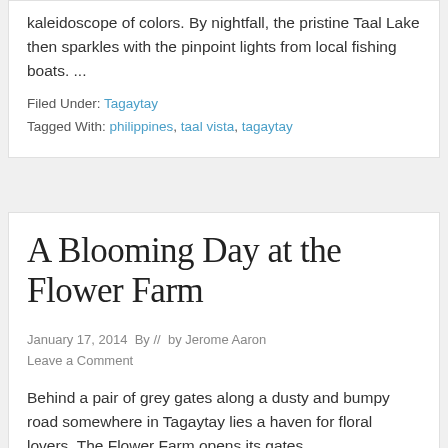kaleidoscope of colors. By nightfall, the pristine Taal Lake then sparkles with the pinpoint lights from local fishing boats. ...
Filed Under: Tagaytay
Tagged With: philippines, taal vista, tagaytay
A Blooming Day at the Flower Farm
January 17, 2014  By //  by Jerome Aaron
Leave a Comment
Behind a pair of grey gates along a dusty and bumpy road somewhere in Tagaytay lies a haven for floral lovers. The Flower Farm opens its gates